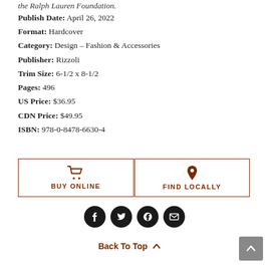the Ralph Lauren Foundation.
Publish Date: April 26, 2022
Format: Hardcover
Category: Design - Fashion & Accessories
Publisher: Rizzoli
Trim Size: 6-1/2 x 8-1/2
Pages: 496
US Price: $36.95
CDN Price: $49.95
ISBN: 978-0-8478-6630-4
[Figure (other): Two buttons: BUY ONLINE with cart icon and FIND LOCALLY with map pin icon, both in brown border style]
[Figure (other): Social media icons: Facebook, Twitter, Google+, Email — all in dark circles]
Back To Top ▲
[Figure (other): Gray scroll-to-top button with upward chevron]